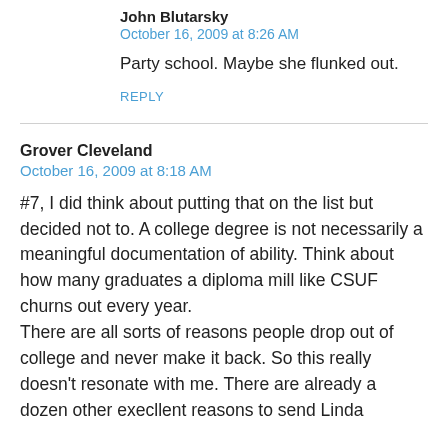John Blutarsky
October 16, 2009 at 8:26 AM
Party school. Maybe she flunked out.
REPLY
Grover Cleveland
October 16, 2009 at 8:18 AM
#7, I did think about putting that on the list but decided not to. A college degree is not necessarily a meaningful documentation of ability. Think about how many graduates a diploma mill like CSUF churns out every year.
There are all sorts of reasons people drop out of college and never make it back. So this really doesn't resonate with me. There are already a dozen other execllent reasons to send Linda